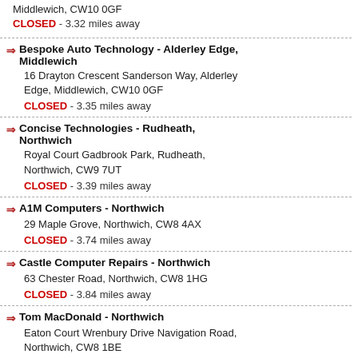Middlewich, CW10 0GF
CLOSED - 3.32 miles away
Bespoke Auto Technology - Alderley Edge, Middlewich
16 Drayton Crescent Sanderson Way, Alderley Edge, Middlewich, CW10 0GF
CLOSED - 3.35 miles away
Concise Technologies - Rudheath, Northwich
Royal Court Gadbrook Park, Rudheath, Northwich, CW9 7UT
CLOSED - 3.39 miles away
A1M Computers - Northwich
29 Maple Grove, Northwich, CW8 4AX
CLOSED - 3.74 miles away
Castle Computer Repairs - Northwich
63 Chester Road, Northwich, CW8 1HG
CLOSED - 3.84 miles away
Tom MacDonald - Northwich
Eaton Court Wrenbury Drive Navigation Road, Northwich, CW8 1BE
CLOSED - 3.84 miles away
Level 1 - Northwich
76 Witton Street, Northwich, CW9 5AE